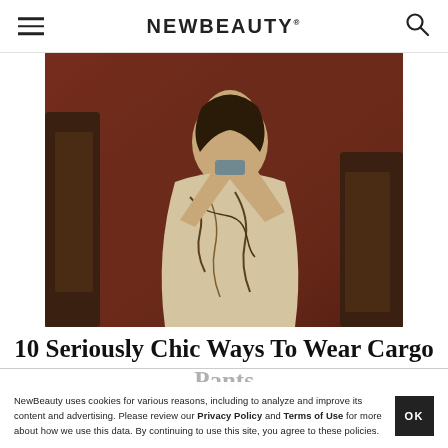NEWBEAUTY
[Figure (photo): Woman in a floral/botanical print dress seated in an ornate wooden chair against a dark red background. The dress is long with flowing fabric in cream, black, and brown tones.]
10 Seriously Chic Ways To Wear Cargo Pants
NewBeauty uses cookies for various reasons, including to analyze and improve its content and advertising. Please review our Privacy Policy and Terms of Use for more about how we use this data. By continuing to use this site, you agree to these policies.